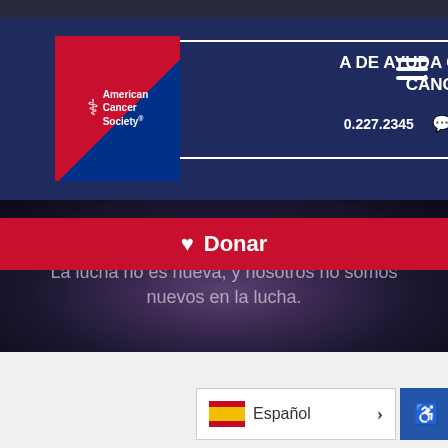[Figure (logo): American Cancer Society logo with red and blue diagonal split background, white caduceus symbol and text]
A DE AYUDA CONTRA EL CÁNCER · 1.800.227.2345 · Contacto con nosotros
♥ Donar
[Figure (photo): Woman with dark wavy hair smiling, wearing a dark blue velvet outfit with floral embroidery, arms spread wide, dark background]
La lucha no es nueva, y nosotros no somos nuevos en la lucha.
Español >